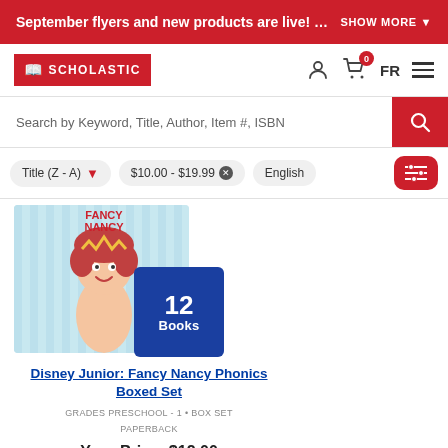September flyers and new products are live! Sig  SHOW MORE ▼
[Figure (logo): Scholastic logo in red banner with book icon]
Search by Keyword, Title, Author, Item #, ISBN
Title (Z - A)  $10.00 - $19.99  English
[Figure (photo): Disney Junior Fancy Nancy Phonics Boxed Set book cover with blue badge showing 12 Books]
Disney Junior: Fancy Nancy Phonics Boxed Set
GRADES PRESCHOOL - 1 • BOX SET PAPERBACK
Your Price: $12.00
ADD TO CART